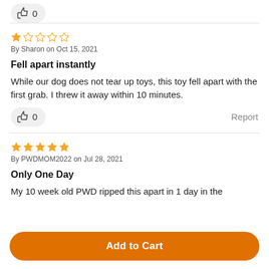[Figure (other): Thumbs up icon with count, partially visible at top]
[Figure (other): 1-star rating (1 filled star, 4 empty stars) in orange]
By Sharon on Oct 15, 2021
Fell apart instantly
While our dog does not tear up toys, this toy fell apart with the first grab. I threw it away within 10 minutes.
[Figure (other): Thumbs up button with count 0]
Report
[Figure (other): 5-star rating (5 filled stars) in orange]
By PWDMOM2022 on Jul 28, 2021
Only One Day
My 10 week old PWD ripped this apart in 1 day in the
Add to Cart